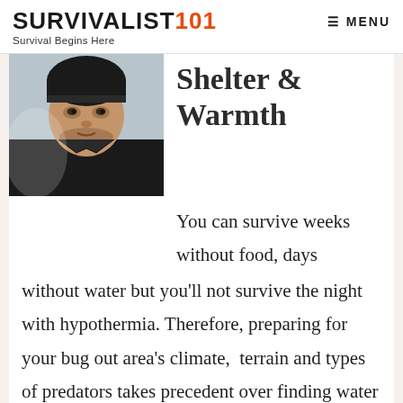SURVIVALIST 101 — Survival Begins Here | MENU
[Figure (photo): Man wearing a black beanie hat and dark jacket, looking slightly to the side, in cold weather setting]
Shelter & Warmth
You can survive weeks without food, days without water but you'll not survive the night with hypothermia. Therefore, preparing for your bug out area's climate,  terrain and types of predators takes precedent over finding water sources and